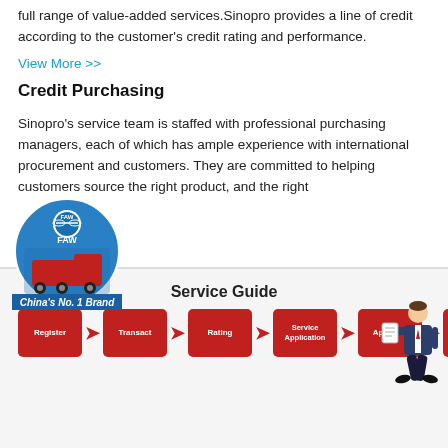full range of value-added services.Sinopro provides a line of credit according to the customer's credit rating and performance.
View More >>
Credit Purchasing
Sinopro's service team is staffed with professional purchasing managers, each of which has ample experience with international procurement and customers. They are committed to helping customers source the right product, and the right
[Figure (logo): FAW China's No. 1 Brand badge with red truck]
Service Guide
[Figure (flowchart): Service guide flow: Register → Transact → Rating → Service Application → Approval → Enjoy Credit Services, with businessman illustration]